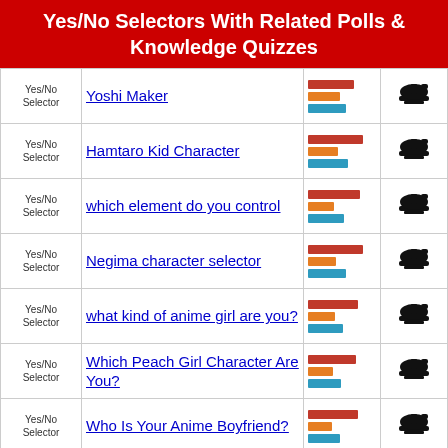Yes/No Selectors With Related Polls & Knowledge Quizzes
| Type | Name | Bars | Icon |
| --- | --- | --- | --- |
| Yes/No Selector | Yoshi Maker |  |  |
| Yes/No Selector | Hamtaro Kid Character |  |  |
| Yes/No Selector | which element do you control |  |  |
| Yes/No Selector | Negima character selector |  |  |
| Yes/No Selector | what kind of anime girl are you? |  |  |
| Yes/No Selector | Which Peach Girl Character Are You? |  |  |
| Yes/No Selector | Who Is Your Anime Boyfriend? |  |  |
| Yes/No Selector | Which anime hero are you most like? |  |  |
| Yes/No Selector | Which Naruto characher are you? |  |  |
| Yes/No Selector | Code Geass Character Identifier |  |  |